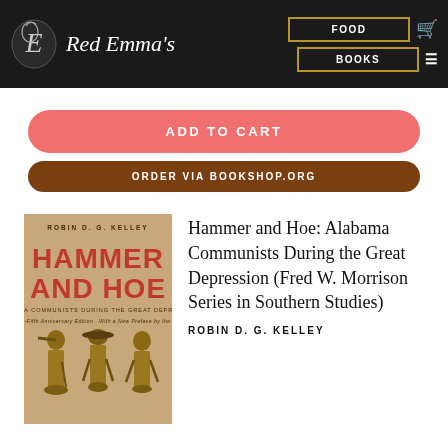Red Emma's  FOOD  BOOKS
ADD TO CART
ORDER VIA BOOKSHOP.ORG
[Figure (photo): Book cover of Hammer and Hoe: Alabama Communists During the Great Depression by Robin D. G. Kelley, Twenty-Fifth Anniversary Edition. Tan cover with large red bold text title and three illustrated figures of workers.]
Hammer and Hoe: Alabama Communists During the Great Depression (Fred W. Morrison Series in Southern Studies)
ROBIN D. G. KELLEY